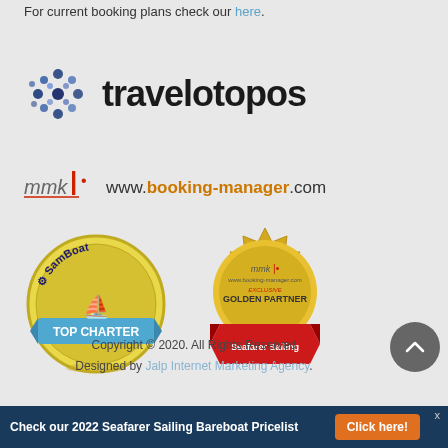For current booking plans check our here.
[Figure (logo): Travelotopos logo with blue dot cluster icon and bold travelotopos text]
[Figure (logo): MMK booking-manager.com logo with mmk text and www.booking-manager.com URL]
[Figure (logo): SamBoat Top Charter badge - circular yellow/gold badge]
[Figure (logo): MMK booking-manager.com Exclusive Golden Partner - Seafarer Sailing badge with gold coin shape and red ribbon]
Copyright © 2020. All Rights Reserved
Designed by Jalp Internet Marketing Agency.
Check our 2022 Seafarer Sailing Bareboat Pricelist  Click here!